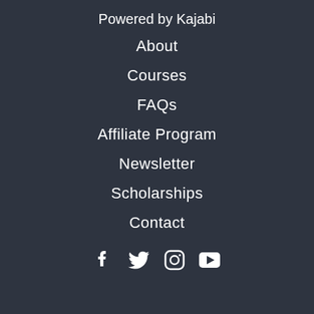Powered by Kajabi
About
Courses
FAQs
Affiliate Program
Newsletter
Scholarships
Contact
[Figure (infographic): Social media icons: Facebook, Twitter, Instagram, YouTube]